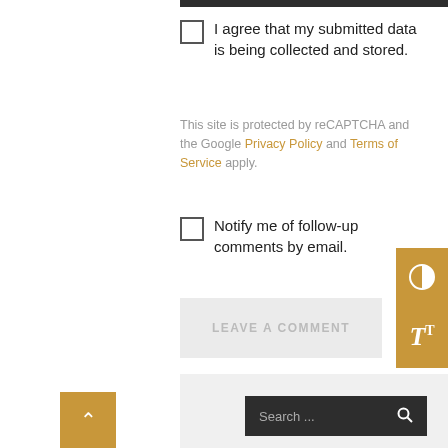I agree that my submitted data is being collected and stored.
This site is protected by reCAPTCHA and the Google Privacy Policy and Terms of Service apply.
Notify me of follow-up comments by email.
LEAVE A COMMENT
Search ...